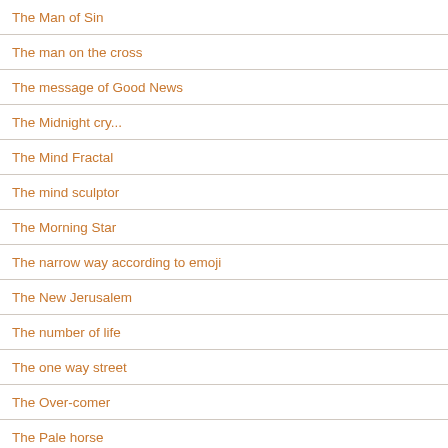The Man of Sin
The man on the cross
The message of Good News
The Midnight cry...
The Mind Fractal
The mind sculptor
The Morning Star
The narrow way according to emoji
The New Jerusalem
The number of life
The one way street
The Over-comer
The Pale horse